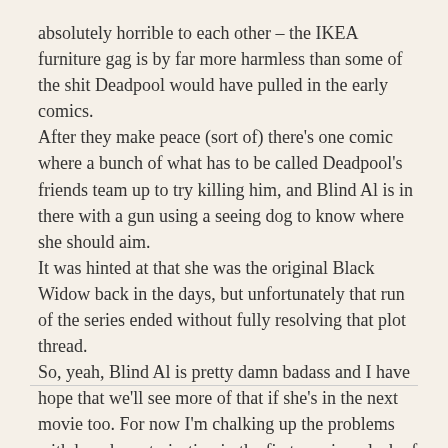absolutely horrible to each other – the IKEA furniture gag is by far more harmless than some of the shit Deadpool would have pulled in the early comics. After they make peace (sort of) there's one comic where a bunch of what has to be called Deadpool's friends team up to try killing him, and Blind Al is in there with a gun using a seeing dog to know where she should aim. It was hinted at that she was the original Black Widow back in the days, but unfortunately that run of the series ended without fully resolving that plot thread.
So, yeah, Blind Al is pretty damn badass and I have hope that we'll see more of that if she's in the next movie too. For now I'm chalking up the problems with her characterisation in the first movie as lack of screen time and lack of in-universe time, as Deadpool and Al in the comics had known each other for a much longer time when the character is introduced in the movie.